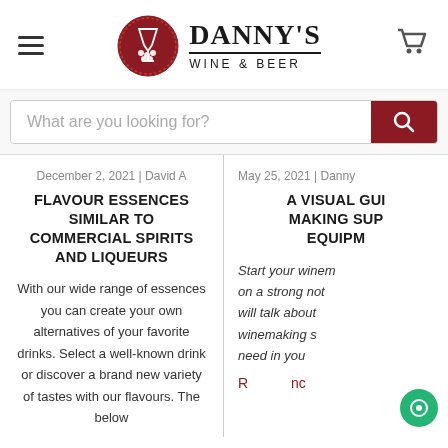Danny's Wine & Beer
What are you looking for?
December 2, 2021 | David A
FLAVOUR ESSENCES SIMILAR TO COMMERCIAL SPIRITS AND LIQUEURS
With our wide range of essences you can create your own alternatives of your favorite drinks. Select a well-known drink or discover a brand new variety of tastes with our flavours. The below
May 25, 2021 | Danny
A VISUAL GUIDE MAKING SUPPLY EQUIPMENT
Start your winem on a strong not will talk about winemaking s need in you